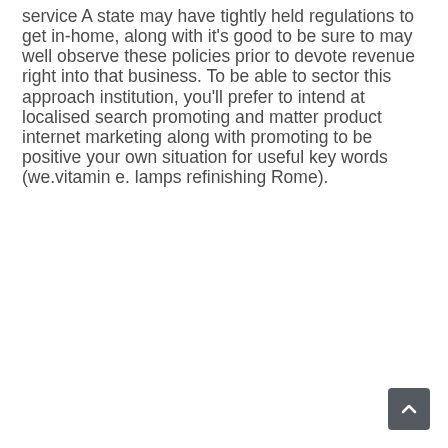service A state may have tightly held regulations to get in-home, along with it's good to be sure to may well observe these policies prior to devote revenue right into that business. To be able to sector this approach institution, you'll prefer to intend at localised search promoting and matter product internet marketing along with promoting to be positive your own situation for useful key words (we.vitamin e. lamps refinishing Rome).